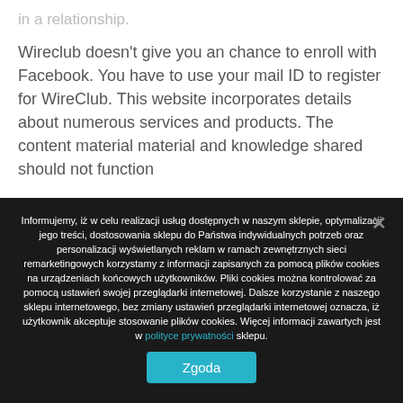in a relationship.
Wireclub doesn't give you an chance to enroll with Facebook. You have to use your mail ID to register for WireClub. This website incorporates details about numerous services and products. The content material material and knowledge shared should not function
Informujemy, iż w celu realizacji usług dostępnych w naszym sklepie, optymalizacji jego treści, dostosowania sklepu do Państwa indywidualnych potrzeb oraz personalizacji wyświetlanych reklam w ramach zewnętrznych sieci remarketingowych korzystamy z informacji zapisanych za pomocą plików cookies na urządzeniach końcowych użytkowników. Pliki cookies można kontrolować za pomocą ustawień swojej przeglądarki internetowej. Dalsze korzystanie z naszego sklepu internetowego, bez zmiany ustawień przeglądarki internetowej oznacza, iż użytkownik akceptuje stosowanie plików cookies. Więcej informacji zawartych jest w polityce prywatności sklepu.
Zgoda